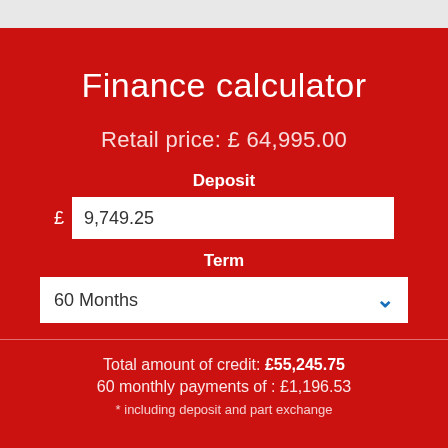Finance calculator
Retail price: £ 64,995.00
Deposit
£ 9,749.25
Term
60 Months
Total amount of credit: £55,245.75
60 monthly payments of : £1,196.53
* including deposit and part exchange